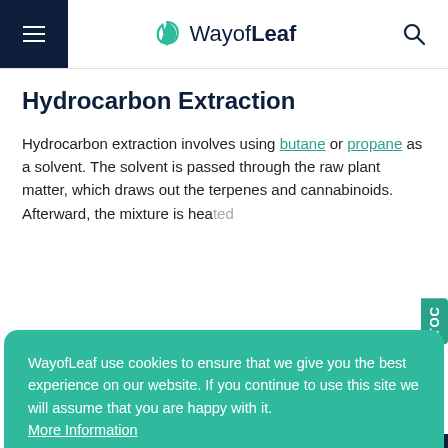WayofLeaf
Hydrocarbon Extraction
Hydrocarbon extraction involves using butane or propane as a solvent. The solvent is passed through the raw plant matter, which draws out the terpenes and cannabinoids. Afterward, the mixture is hea...
WayofLeaf use cookies to ensure that we give you the best experience on our website. If you continue to use this site we will assume that you are happy with it. More Information
ACCEPT
metal tank until it becomes a supercritical fluid.